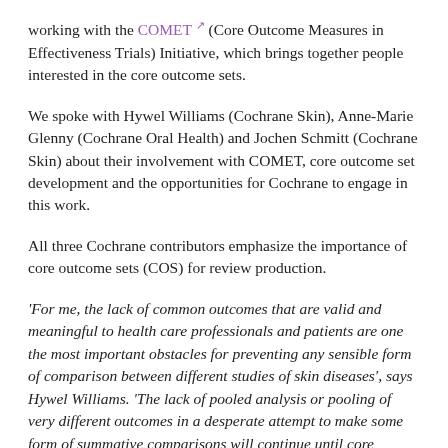working with the COMET (Core Outcome Measures in Effectiveness Trials) Initiative, which brings together people interested in the core outcome sets.
We spoke with Hywel Williams (Cochrane Skin), Anne-Marie Glenny (Cochrane Oral Health) and Jochen Schmitt (Cochrane Skin) about their involvement with COMET, core outcome set development and the opportunities for Cochrane to engage in this work.
All three Cochrane contributors emphasize the importance of core outcome sets (COS) for review production.
'For me, the lack of common outcomes that are valid and meaningful to health care professionals and patients are one the most important obstacles for preventing any sensible form of comparison between different studies of skin diseases', says Hywel Williams. 'The lack of pooled analysis or pooling of very different outcomes in a desperate attempt to make some form of summative comparisons will continue until core outcomes for all skin diseases have been agreed...